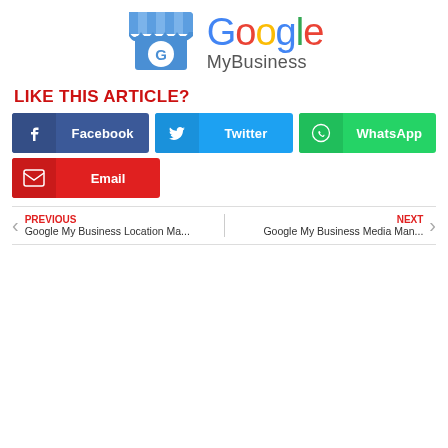[Figure (logo): Google My Business logo with storefront icon and Google wordmark]
LIKE THIS ARTICLE?
[Figure (infographic): Social share buttons: Facebook, Twitter, WhatsApp, Email]
< PREVIOUS Google My Business Location Ma... | NEXT > Google My Business Media Man...